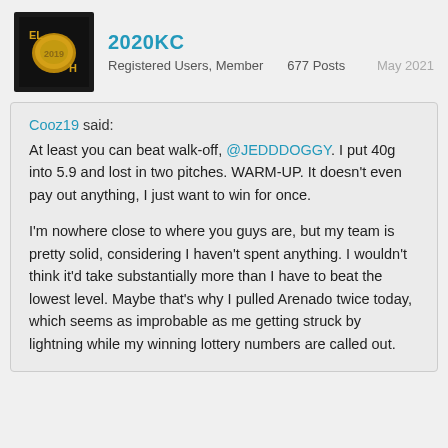2020KC — Registered Users, Member   677 Posts   May 2021
Cooz19 said:
At least you can beat walk-off, @JEDDDOGGY. I put 40g into 5.9 and lost in two pitches. WARM-UP. It doesn't even pay out anything, I just want to win for once.

I'm nowhere close to where you guys are, but my team is pretty solid, considering I haven't spent anything. I wouldn't think it'd take substantially more than I have to beat the lowest level. Maybe that's why I pulled Arenado twice today, which seems as improbable as me getting struck by lightning while my winning lottery numbers are called out.